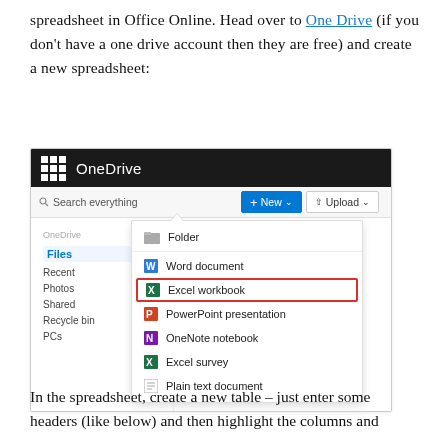spreadsheet in Office Online. Head over to One Drive (if you don't have a one drive account then they are free) and create a new spreadsheet:
[Figure (screenshot): Screenshot of OneDrive interface showing the 'New' dropdown menu with options: Folder, Word document, Excel workbook (highlighted with red border), PowerPoint presentation, OneNote notebook, Excel survey, Plain text document. Left sidebar shows navigation items: OneDrive, Files (selected), Recent, Photos, Shared, Recycle bin, PCs.]
In the spreadsheet, create a new table – just enter some headers (like below) and then highlight the columns and